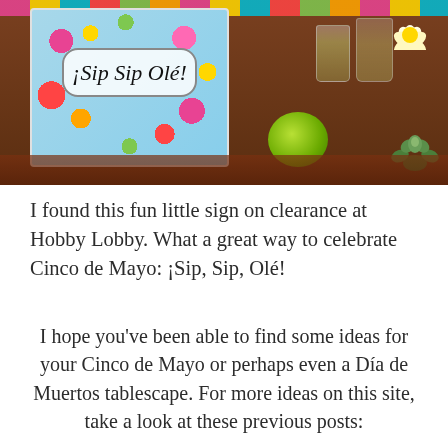[Figure (photo): Photo of a colorful floral 'iSip Sip Olé!' sign on a wooden table with shot glasses, a lime, a white flower, and a succulent in the background.]
I found this fun little sign on clearance at Hobby Lobby. What a great way to celebrate Cinco de Mayo: ¡Sip, Sip, Olé!
I hope you've been able to find some ideas for your Cinco de Mayo or perhaps even a Día de Muertos tablescape. For more ideas on this site, take a look at these previous posts: